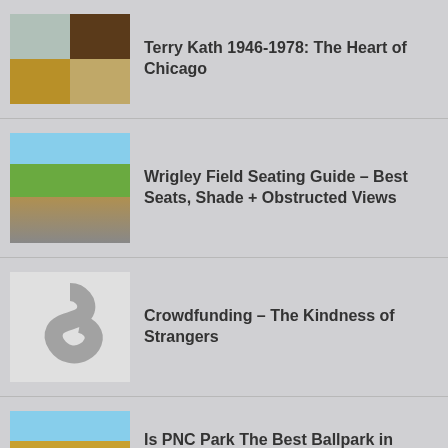[Figure (photo): Chicago band album covers collage, 2x2 grid of images]
Terry Kath 1946-1978: The Heart of Chicago
[Figure (photo): Wrigley Field baseball stadium aerial view]
Wrigley Field Seating Guide – Best Seats, Shade + Obstructed Views
[Figure (photo): Crowd of people forming a dollar sign shape from above]
Crowdfunding – The Kindness of Strangers
[Figure (photo): PNC Park baseball stadium exterior with sign]
Is PNC Park The Best Ballpark in Baseball?